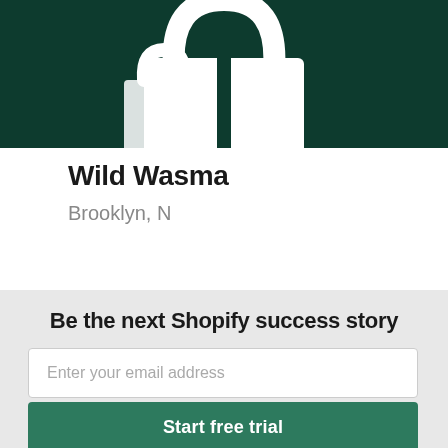[Figure (illustration): Dark green banner with white shopping bag icon centered at top]
Wild Was ma
Brooklyn, N
Be the next Shopify success story
Enter your email address
Start free trial